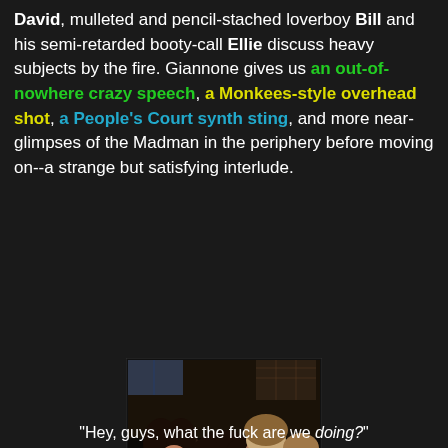David, mulleted and pencil-stached loverboy Bill and his semi-retarded booty-call Ellie discuss heavy subjects by the fire. Giannone gives us an out-of-nowhere crazy speech, a Monkees-style overhead shot, a People's Court synth sting, and more near-glimpses of the Madman in the periphery before moving on--a strange but satisfying interlude.
[Figure (photo): Overhead shot of four people lying on the ground looking up, from a horror film. One man in a red shirt with a mustache is prominent in the foreground, another man on the right, and two others behind them.]
"Hey, guys, what the fuck are we doing?"